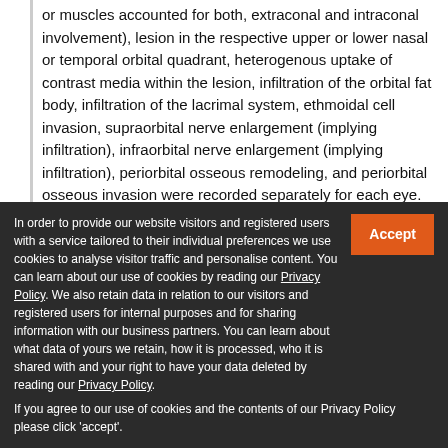or muscles accounted for both, extraconal and intraconal involvement), lesion in the respective upper or lower nasal or temporal orbital quadrant, heterogenous uptake of contrast media within the lesion, infiltration of the orbital fat body, infiltration of the lacrimal system, ethmoidal cell invasion, supraorbital nerve enlargement (implying infiltration), infraorbital nerve enlargement (implying infiltration), periorbital osseous remodeling, and periorbital osseous invasion were recorded separately for each eye.
Quantitative variables included respective lesion diameters in anterior-posterior (AP), lateral (LR), and craniocaudal (CC) dimensions of the largest visible lesion, and respective tumor
In order to provide our website visitors and registered users with a service tailored to their individual preferences we use cookies to analyse visitor traffic and personalise content. You can learn about our use of cookies by reading our Privacy Policy. We also retain data in relation to our visitors and registered users for internal purposes and for sharing information with our business partners. You can learn about what data of yours we retain, how it is processed, who it is shared with and your right to have your data deleted by reading our Privacy Policy. If you agree to our use of cookies and the contents of our Privacy Policy please click 'accept'.